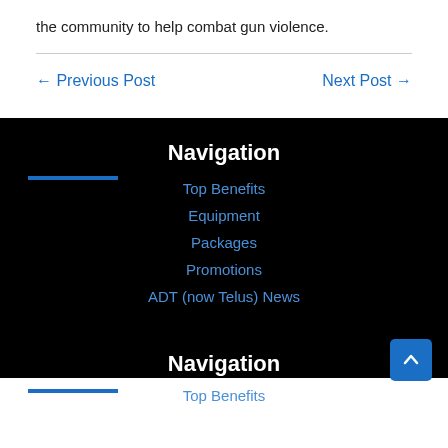the community to help combat gun violence.
← Previous Post
Next Post →
Navigation
Top Benefits
Equipment
Packages
Promotions
ADT (now Telus) News
Navigation
Top Benefits